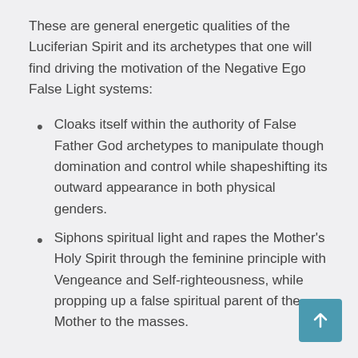These are general energetic qualities of the Luciferian Spirit and its archetypes that one will find driving the motivation of the Negative Ego False Light systems:
Cloaks itself within the authority of False Father God archetypes to manipulate though domination and control while shapeshifting its outward appearance in both physical genders.
Siphons spiritual light and rapes the Mother's Holy Spirit through the feminine principle with Vengeance and Self-righteousness, while propping up a false spiritual parent of the Mother to the masses.